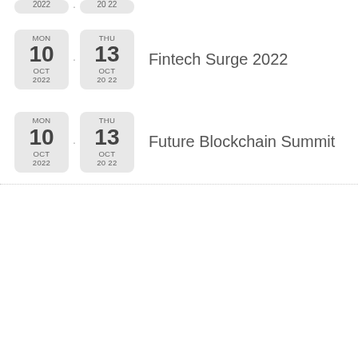2022 - 2022 (partial top row, cut off)
Fintech Surge 2022, MON 10 OCT 2022 - THU 13 OCT 2022
Future Blockchain Summit, MON 10 OCT 2022 - THU 13 OCT 2022